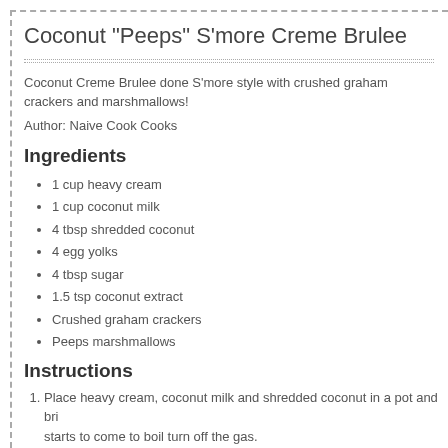Coconut "Peeps" S'more Creme Brulee
Coconut Creme Brulee done S'more style with crushed graham crackers and marshmallows!
Author: Naive Cook Cooks
Ingredients
1 cup heavy cream
1 cup coconut milk
4 tbsp shredded coconut
4 egg yolks
4 tbsp sugar
1.5 tsp coconut extract
Crushed graham crackers
Peeps marshmallows
Instructions
Place heavy cream, coconut milk and shredded coconut in a pot and bri... starts to come to boil turn off the gas.